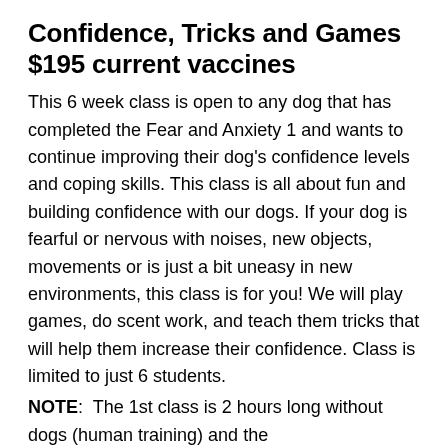Confidence, Tricks and Games $195 current vaccines
This 6 week class is open to any dog that has completed the Fear and Anxiety 1 and wants to continue improving their dog's confidence levels and coping skills. This class is all about fun and building confidence with our dogs. If your dog is fearful or nervous with noises, new objects, movements or is just a bit uneasy in new environments, this class is for you! We will play games, do scent work, and teach them tricks that will help them increase their confidence. Class is limited to just 6 students.
NOTE: The 1st class is 2 hours long without dogs (human training) and the